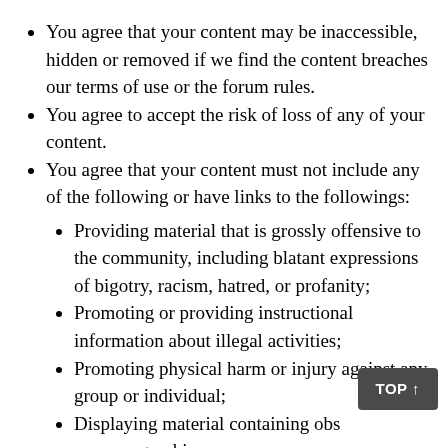You agree that your content may be inaccessible, hidden or removed if we find the content breaches our terms of use or the forum rules.
You agree to accept the risk of loss of any of your content.
You agree that your content must not include any of the following or have links to the followings:
Providing material that is grossly offensive to the community, including blatant expressions of bigotry, racism, hatred, or profanity;
Promoting or providing instructional information about illegal activities;
Promoting physical harm or injury against any group or individual;
Displaying material containing obs[cene] or pornographic;